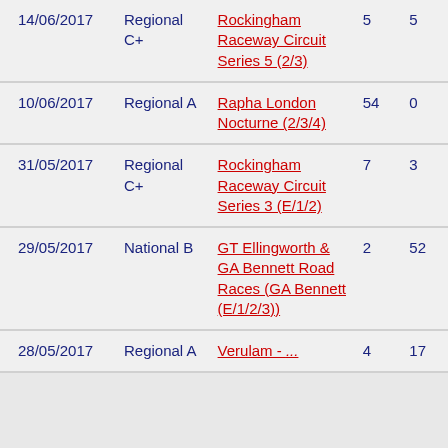| Date | Category | Event | Col1 | Col2 |
| --- | --- | --- | --- | --- |
| 14/06/2017 | Regional C+ | Rockingham Raceway Circuit Series 5 (2/3) | 5 | 5 |
| 10/06/2017 | Regional A | Rapha London Nocturne (2/3/4) | 54 | 0 |
| 31/05/2017 | Regional C+ | Rockingham Raceway Circuit Series 3 (E/1/2) | 7 | 3 |
| 29/05/2017 | National B | GT Ellingworth & GA Bennett Road Races (GA Bennett (E/1/2/3)) | 2 | 52 |
| 28/05/2017 | Regional A | Verulam - ... | 4 | 17 |